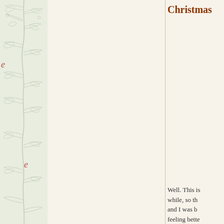Christmas
[Figure (illustration): Left sidebar with floral/botanical decorative pattern in light green on cream background, with red italic letter 'e' repeated at intervals]
Well. This is while, so th and I was b feeling bette